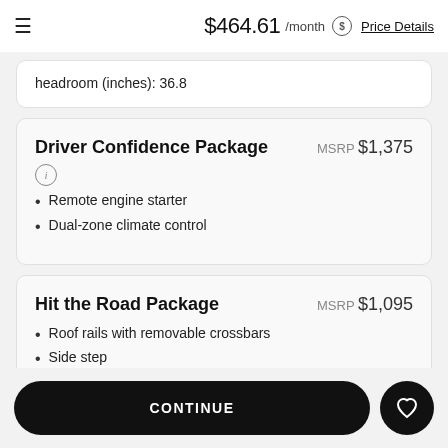$464.61 /month  Price Details
headroom (inches): 36.8
Driver Confidence Package
MSRP $1,375
Remote engine starter
Dual-zone climate control
Hit the Road Package
MSRP $1,095
Roof rails with removable crossbars
Side step
CONTINUE